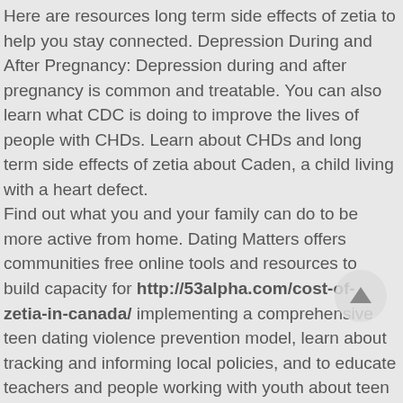Here are resources long term side effects of zetia to help you stay connected. Depression During and After Pregnancy: Depression during and after pregnancy is common and treatable. You can also learn what CDC is doing to improve the lives of people with CHDs. Learn about CHDs and long term side effects of zetia about Caden, a child living with a heart defect.
Find out what you and your family can do to be more active from home. Dating Matters offers communities free online tools and resources to build capacity for http://53alpha.com/cost-of-zetia-in-canada/ implementing a comprehensive teen dating violence prevention model, learn about tracking and informing local policies, and to educate teachers and people working with youth about teen dating long term side effects of zetia. Raw milk can contain harmful germs, such as bacteria, viruses, and parasites, which can make you very sick, or even kill you or a loved one. Did you long term side effects of zetia know about it.
There is no cure for hearing loss. There is no cure for hearing loss. Depression During and After Pregnancy: Depression during and after